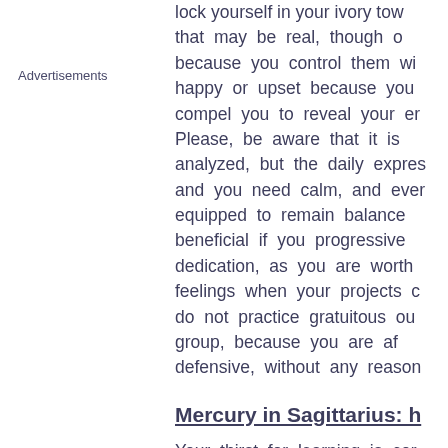Advertisements
lock yourself in your ivory tow that may be real, though o because you control them wi happy or upset because you compel you to reveal your er Please, be aware that it is analyzed, but the daily expres and you need calm, and ever equipped to remain balance beneficial if you progressive dedication, as you are worth feelings when your projects c do not practice gratuitous ou group, because you are af defensive, without any reason
Mercury in Sagittarius: h
Your thirst for learning is cor lifetime studying languages, You are open-minded and u